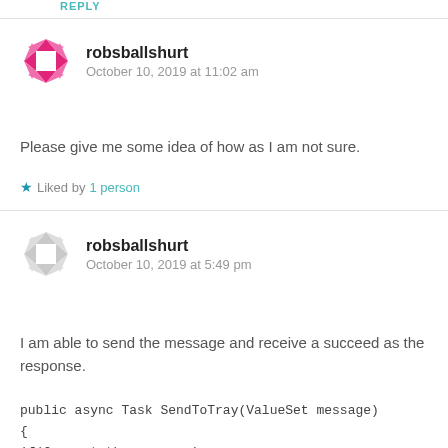REPLY
[Figure (logo): Pink diamond/geometric avatar icon for robsballshurt]
robsballshurt
October 10, 2019 at 11:02 am
Please give me some idea of how as I am not sure.
★ Liked by 1 person
[Figure (logo): Pink diamond/geometric avatar icon for robsballshurt]
robsballshurt
October 10, 2019 at 5:49 pm
I am able to send the message and receive a succeed as the response.
public async Task SendToTray(ValueSet message)
{
if(Connect the message)